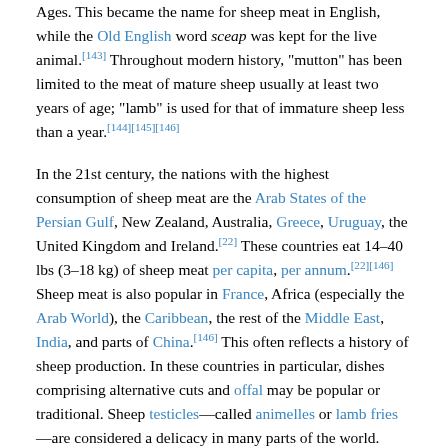Ages. This became the name for sheep meat in English, while the Old English word sceap was kept for the live animal.[143] Throughout modern history, "mutton" has been limited to the meat of mature sheep usually at least two years of age; "lamb" is used for that of immature sheep less than a year.[144][145][146]
In the 21st century, the nations with the highest consumption of sheep meat are the Arab States of the Persian Gulf, New Zealand, Australia, Greece, Uruguay, the United Kingdom and Ireland.[22] These countries eat 14–40 lbs (3–18 kg) of sheep meat per capita, per annum.[22][146] Sheep meat is also popular in France, Africa (especially the Arab World), the Caribbean, the rest of the Middle East, India, and parts of China.[146] This often reflects a history of sheep production. In these countries in particular, dishes comprising alternative cuts and offal may be popular or traditional. Sheep testicles—called animelles or lamb fries—are considered a delicacy in many parts of the world. Perhaps the most unusual dish of sheep meat is the Scottish haggis, composed of various